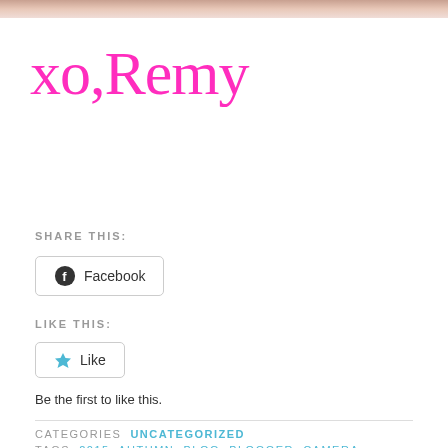[Figure (photo): Partial photo strip at top of page showing food or dessert in warm tones]
xo,Remy
SHARE THIS:
Facebook
LIKE THIS:
Like
Be the first to like this.
CATEGORIES  UNCATEGORIZED
TAGS  2015, AUTUMN, BLOG, BLOGGER, CAMERA,